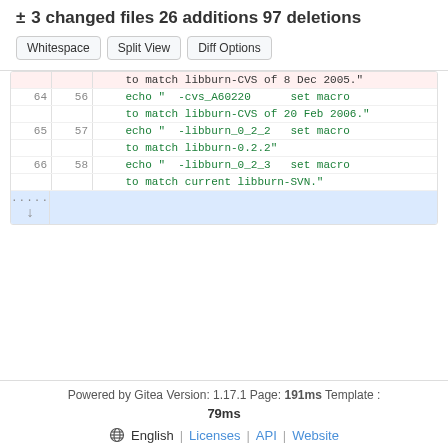± 3 changed files 26 additions 97 deletions
Whitespace  Split View  Diff Options
| old | new | code |
| --- | --- | --- |
|  |  | to match libburn-CVS of 8 Dec 2005." |
| 64 | 56 | echo "  -cvs_A60220      set macro to match libburn-CVS of 20 Feb 2006." |
| 65 | 57 | echo "  -libburn_0_2_2   set macro to match libburn-0.2.2" |
| 66 | 58 | echo "  -libburn_0_2_3   set macro to match current libburn-SVN." |
| ... |  |  |
Powered by Gitea Version: 1.17.1 Page: 191ms Template : 79ms
English | Licenses | API | Website